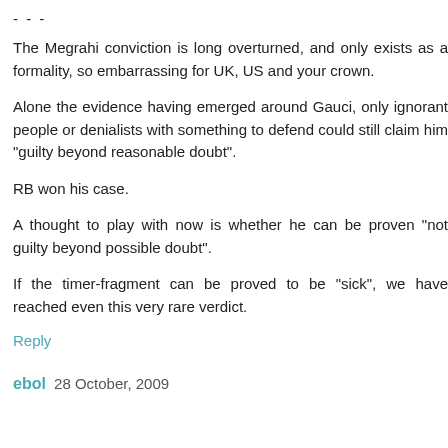- - -
The Megrahi conviction is long overturned, and only exists as a formality, so embarrassing for UK, US and your crown.
Alone the evidence having emerged around Gauci, only ignorant people or denialists with something to defend could still claim him "guilty beyond reasonable doubt".
RB won his case.
A thought to play with now is whether he can be proven "not guilty beyond possible doubt".
If the timer-fragment can be proved to be "sick", we have reached even this very rare verdict.
Reply
ebol  28 October, 2009